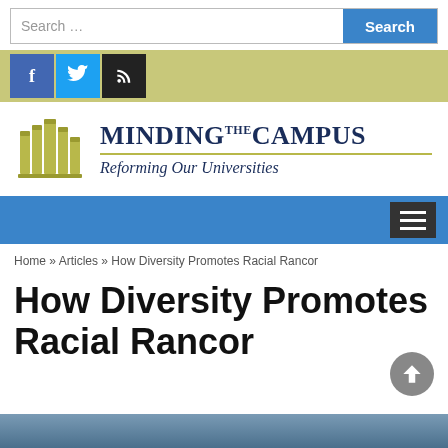[Figure (screenshot): Search bar with text 'Search ...' and blue Search button]
[Figure (screenshot): Social media icons: Facebook (blue), Twitter (light blue), RSS (black) on olive/yellow background]
[Figure (logo): Minding the Campus logo with book icons and text 'MINDING THE CAMPUS - Reforming Our Universities']
[Figure (screenshot): Blue navigation bar with hamburger menu button on right]
Home » Articles » How Diversity Promotes Racial Rancor
How Diversity Promotes Racial Rancor
[Figure (photo): Bottom portion of a photo, blue-gray tones, partially visible]